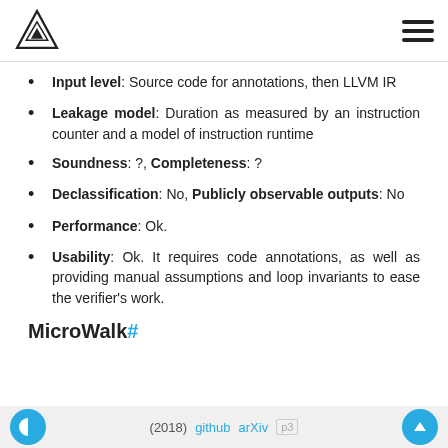Logo and navigation header
Input level: Source code for annotations, then LLVM IR
Leakage model: Duration as measured by an instruction counter and a model of instruction runtime
Soundness: ?, Completeness: ?
Declassification: No, Publicly observable outputs: No
Performance: Ok.
Usability: Ok. It requires code annotations, as well as providing manual assumptions and loop invariants to ease the verifier's work.
MicroWalk#
(2018) github arXiv